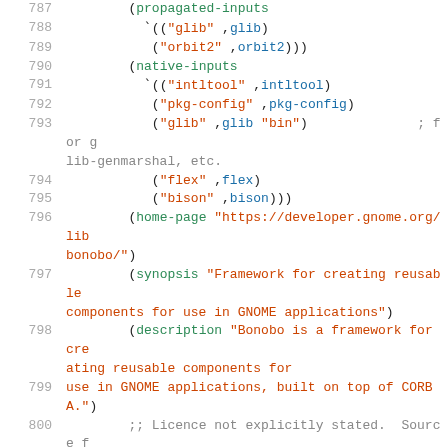787  (propagated-inputs
788   `(("glib" ,glib)
789    ("orbit2" ,orbit2)))
790  (native-inputs
791   `(("intltool" ,intltool)
792    ("pkg-config" ,pkg-config)
793    ("glib" ,glib "bin")   ; for glib-genmarshal, etc.
794    ("flex" ,flex)
795    ("bison" ,bison)))
796  (home-page "https://developer.gnome.org/libbonobo/")
797  (synopsis "Framework for creating reusable components for use in GNOME applications")
798  (description "Bonobo is a framework for creating reusable components for
799  use in GNOME applications, built on top of CORBA.")
800  ;; Licence not explicitly stated.  Source files contain no licence notices.
801  ;; Tarball contains text of both GPLv2 and LGPLv2
802  ;; GPLv2 covers both conditions.